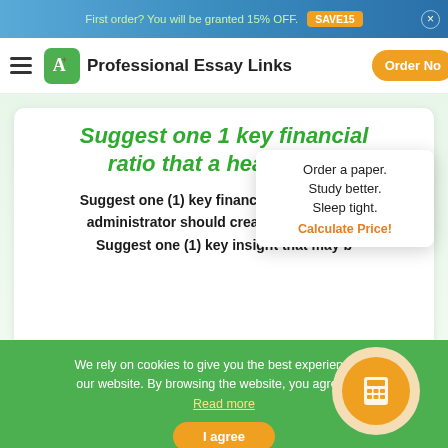First order? You will be granted 15% OFF. SAVE15
Professional Essay Links  Order Now
Suggest one 1 key financial ratio that a health ca...
Suggest one (1) key financial ratio that a health care administrator should create a trend analysis. Suggest one (1) key insight that may b...
Order a paper. Study better. Sleep tight. Calculate Price!
We rely on cookies to give you the best experience on our website. By browsing the website, you agree to it. Read more
I agree